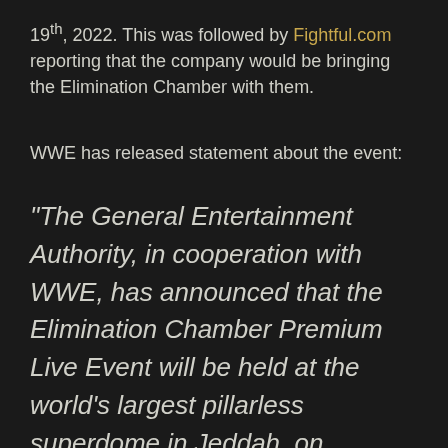19th, 2022. This was followed by Fightful.com reporting that the company would be bringing the Elimination Chamber with them.
WWE has released statement about the event:
“The General Entertainment Authority, in cooperation with WWE, has announced that the Elimination Chamber Premium Live Event will be held at the world's largest pillarless superdome in Jeddah, on Saturday, Feb.19, 2022. More details of the